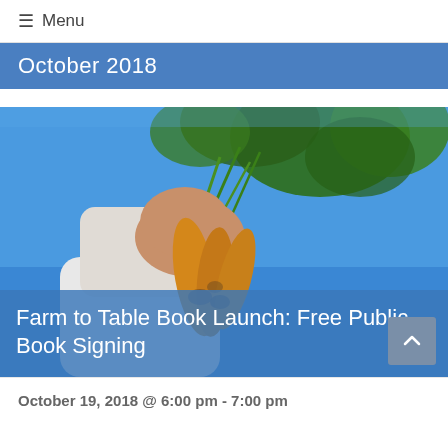≡ Menu
October 2018
[Figure (photo): A hand holding freshly harvested carrots with dirt still on them against a blue sky, with green leafy carrot tops visible.]
Farm to Table Book Launch: Free Public Book Signing
October 19, 2018 @ 6:00 pm - 7:00 pm